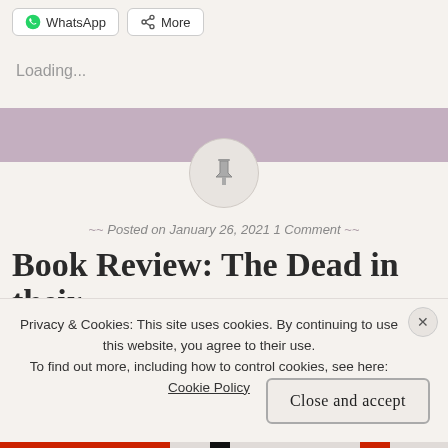[Figure (screenshot): WhatsApp and More share buttons at top left]
Loading...
[Figure (illustration): Mauve/purple horizontal banner bar]
[Figure (illustration): Circular pin/thumbtack icon on grey background circle]
Posted on January 26, 2021 1 Comment
Book Review: The Dead in their
Privacy & Cookies: This site uses cookies. By continuing to use this website, you agree to their use.
To find out more, including how to control cookies, see here:
Cookie Policy
[Figure (screenshot): Close and accept button for cookie consent banner]